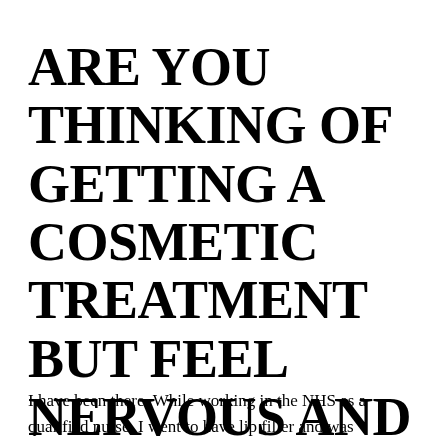ARE YOU THINKING OF GETTING A COSMETIC TREATMENT BUT FEEL NERVOUS AND DON'T KNOW WHERE TO GO?
I have been there. While working in the NHS as a qualified nurse, I went to have lip filler and was